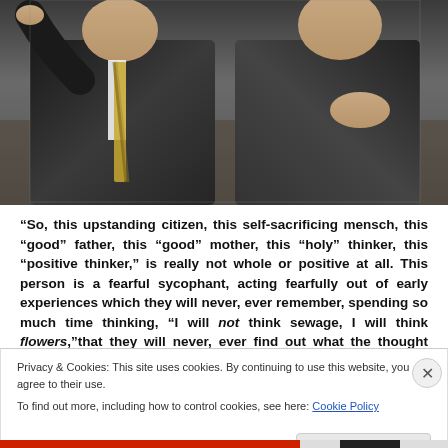[Figure (photo): Two men in dark business suits, one pointing, photographed from the torso up in what appears to be an official or legislative setting.]
“So, this upstanding citizen, this self-sacrificing mensch, this “good” father, this “good” mother, this “holy” thinker, this “positive thinker,” is really not whole or positive at all. This person is a fearful sycophant, acting fearfully out of early experiences which they will never, ever remember, spending so much time thinking, “I will not think sewage, I will think flowers,”that they will never, ever find out what the thought after “sewage” might have been, if they had not
Privacy & Cookies: This site uses cookies. By continuing to use this website, you agree to their use.
To find out more, including how to control cookies, see here: Cookie Policy
Close and accept